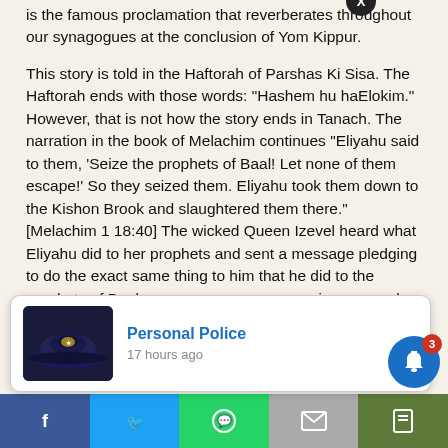is the famous proclamation that reverberates throughout our synagogues at the conclusion of Yom Kippur.
This story is told in the Haftorah of Parshas Ki Sisa. The Haftorah ends with those words: “Hashem hu haElokim.” However, that is not how the story ends in Tanach. The narration in the book of Melachim continues “Eliyahu said to them, ‘Seize the prophets of Baal! Let none of them escape!’ So they seized them. Eliyahu took them down to the Kishon Brook and slaughtered them there.” [Melachim 1 18:40] The wicked Queen Izevel heard what Eliyahu did to her prophets and sent a message pledging to do the exact same thing to him that he did to the prophets of Baal.
[Figure (screenshot): A notification popup showing 'Personal Police' with a police hat image and '17 hours ago' timestamp, with an X close button. Partially visible text reads 'in a cave when', 'Why are you here', 'I have act'. Below is a social sharing bar with Facebook, Twitter, WhatsApp, Email, and Save buttons. A blue bell notification icon with badge '3' is visible at bottom right. Partial text: 'of Legions, for the Children of Israel']